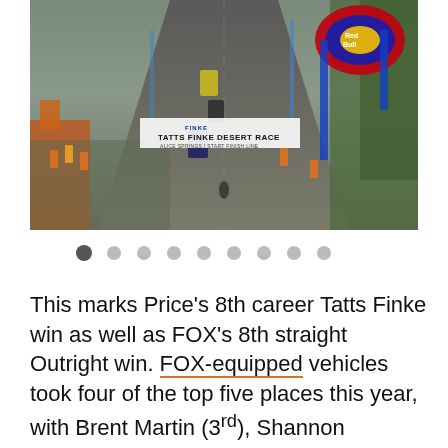[Figure (photo): Aerial view of Tatts Finke Desert Race start/finish line in Alice Springs, with Red Bull arch on right, race vehicles lined up on dirt track, and spectators/officials in orange and yellow vests on the sides]
This marks Price's 8th career Tatts Finke win as well as FOX's 8th straight Outright win. FOX-equipped vehicles took four of the top five places this year, with Brent Martin (3rd), Shannon Rentsch (4th) and Taylor Owen (5th) showing their skill...